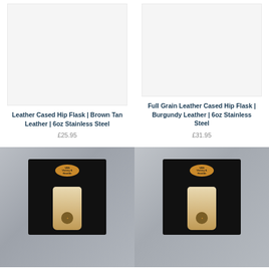[Figure (photo): Product image placeholder for Leather Cased Hip Flask, light grey background]
Leather Cased Hip Flask | Brown Tan Leather | 6oz Stainless Steel
£25.95
[Figure (photo): Product image placeholder for Full Grain Leather Cased Hip Flask, light grey background]
Full Grain Leather Cased Hip Flask | Burgundy Leather | 6oz Stainless Steel
£31.95
[Figure (photo): Photo of open black gift box with logo and cream leather hip flask inside, grey stone background]
[Figure (photo): Photo of open black gift box with logo and cream leather hip flask inside, grey stone background]